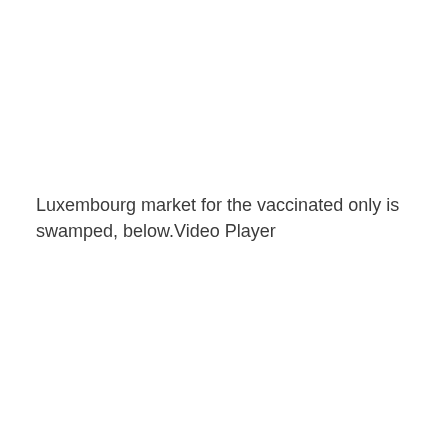Luxembourg market for the vaccinated only is swamped, below.Video Player